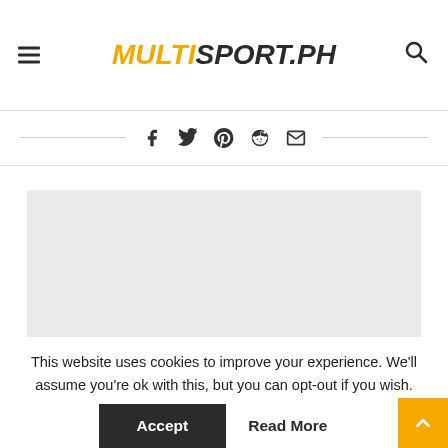MULTISPORT.PH
[Figure (infographic): Social share icons: Facebook, Twitter, Pinterest, Reddit, Email]
[Figure (photo): Large light gray image placeholder area]
This website uses cookies to improve your experience. We'll assume you're ok with this, but you can opt-out if you wish.